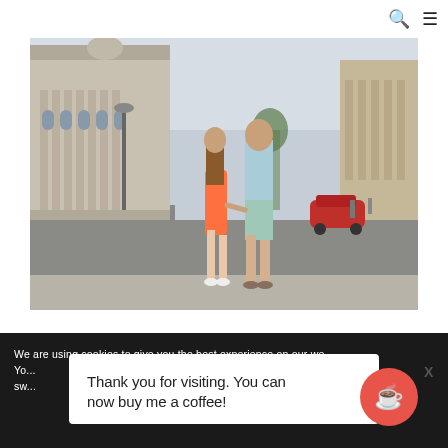🔍 ☰
[Figure (photo): A father and young daughter walking hand-in-hand away from the camera on a wide urban street in Havana, Cuba. The girl wears an orange dress and the man wears a light blue shirt and mint green shorts. Historic grand architecture lines the street on the left, and a red classic car is visible in the background.]
We are using cookies to give you the best experience on our we... You... are using or sw...
Thank you for visiting. You can now buy me a coffee!